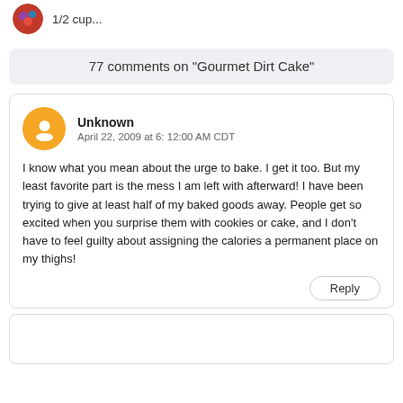1/2 cup...
77 comments on "Gourmet Dirt Cake"
Unknown
April 22, 2009 at 6: 12:00 AM CDT
I know what you mean about the urge to bake. I get it too. But my least favorite part is the mess I am left with afterward! I have been trying to give at least half of my baked goods away. People get so excited when you surprise them with cookies or cake, and I don't have to feel guilty about assigning the calories a permanent place on my thighs!